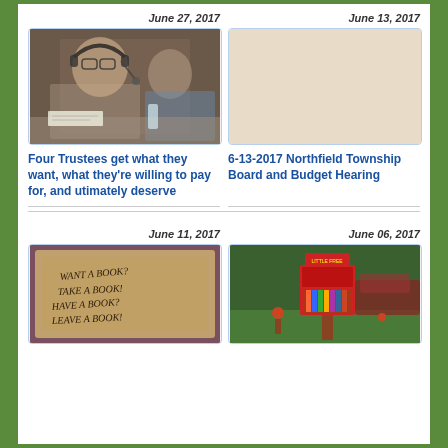June 27, 2017
[Figure (photo): Person wearing headphones and writing at a meeting table]
Four Trustees get what they want, what they're willing to pay for, and utimately deserve
June 13, 2017
[Figure (photo): Blank beige/tan placeholder image]
6-13-2017 Northfield Township Board and Budget Hearing
June 11, 2017
[Figure (photo): Handwritten sign on weathered material reading: Want a book? Take a book! Have a book? Leave a book!]
June 06, 2017
[Figure (photo): A red little free library box on a post outdoors in a yard]